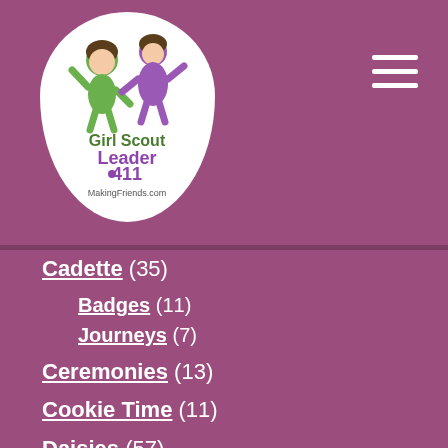[Figure (logo): Girl Scout Leader 411 MakingFriends.com logo with two cartoon girl figures inside a white arch shape]
Cadette (35)
Badges (11)
Journeys (7)
Ceremonies (13)
Cookie Time (11)
Daisies (57)
Badges (1)
Journeys (10)
Petals (13)
Fundraising Ideas (6)